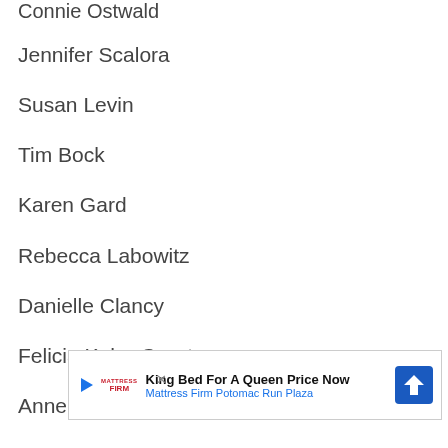Connie Ostwald
Jennifer Scalora
Susan Levin
Tim Bock
Karen Gard
Rebecca Labowitz
Danielle Clancy
Felicia Kahn-Grant
Anneliese Crawford
Jamie ...
[Figure (other): Advertisement banner for Mattress Firm Potomac Run Plaza: King Bed For A Queen Price Now]